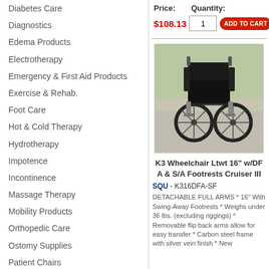Diabetes Care
Diagnostics
Edema Products
Electrotherapy
Emergency & First Aid Products
Exercise & Rehab.
Foot Care
Hot & Cold Therapy
Hydrotherapy
Impotence
Incontinence
Massage Therapy
Mobility Products
Orthopedic Care
Ostomy Supplies
Patient Chairs
Physical Therapy
Physician Supplies
Positioners
Price: $108.13   Quantity: 1   ADD TO CART
[Figure (photo): Photograph of a K3 Lightweight wheelchair with detachable full arms and swing-away footrests, shown outdoors on a paved surface.]
K3 Wheelchair Ltwt 16" w/DFA & S/A Footrests Cruiser III
SQU - K316DFA-SF
DETACHABLE FULL ARMS * 16" With Swing-Away Footrests * Weighs under 36 lbs. (excluding riggings) * Removable flip back arms allow for easy transfer * Carbon steel frame with silver vein finish * New